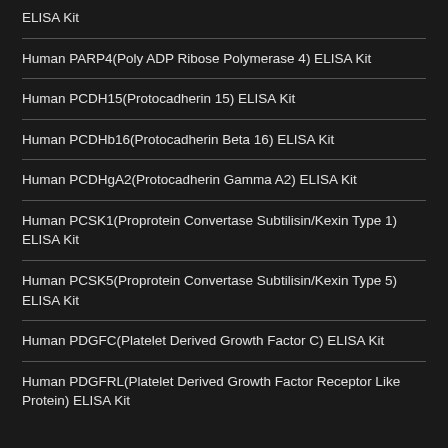ELISA Kit
Human PARP4(Poly ADP Ribose Polymerase 4) ELISA Kit
Human PCDH15(Protocadherin 15) ELISA Kit
Human PCDHb16(Protocadherin Beta 16) ELISA Kit
Human PCDHgA2(Protocadherin Gamma A2) ELISA Kit
Human PCSK1(Proprotein Convertase Subtilisin/Kexin Type 1) ELISA Kit
Human PCSK5(Proprotein Convertase Subtilisin/Kexin Type 5) ELISA Kit
Human PDGFC(Platelet Derived Growth Factor C) ELISA Kit
Human PDGFRL(Platelet Derived Growth Factor Receptor Like Protein) ELISA Kit